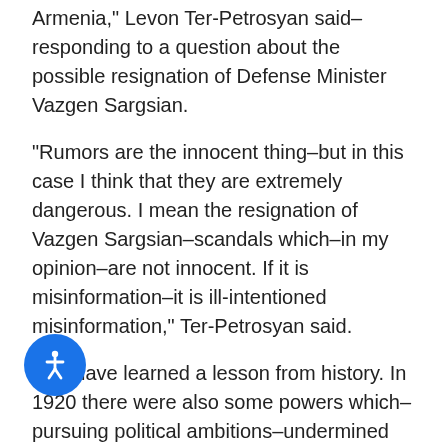Armenia," Levon Ter-Petrosyan said–responding to a question about the possible resignation of Defense Minister Vazgen Sargsian.
"Rumors are the innocent thing–but in this case I think that they are extremely dangerous. I mean the resignation of Vazgen Sargsian–scandals which–in my opinion–are not innocent. If it is misinformation–it is ill-intentioned misinformation," Ter-Petrosyan said.
"We have learned a lesson from history. In 1920 there were also some powers which– pursuing political ambitions–undermined our national army. Unfortunately–today there are also powers for which political ambitions are more important than our army–the problem of Artsakh–[Arm]enian Cause– which they made their slogan. I [kn]ow the meaning of their existence–but [they] have made no positive contribution to the problem of Artsakh–be
[Figure (other): Blue circular accessibility button with a white person/wheelchair icon in the bottom-left area of the page]